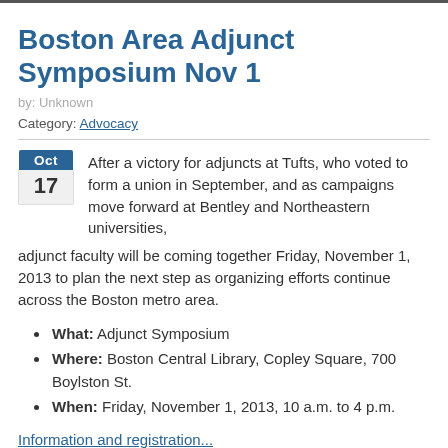Boston Area Adjunct Symposium Nov 1
by: Unknown
Category: Advocacy
Oct 17 — After a victory for adjuncts at Tufts, who voted to form a union in September, and as campaigns move forward at Bentley and Northeastern universities, adjunct faculty will be coming together Friday, November 1, 2013 to plan the next step as organizing efforts continue across the Boston metro area.
What: Adjunct Symposium
Where: Boston Central Library, Copley Square, 700 Boylston St.
When: Friday, November 1, 2013, 10 a.m. to 4 p.m.
Information and registration...